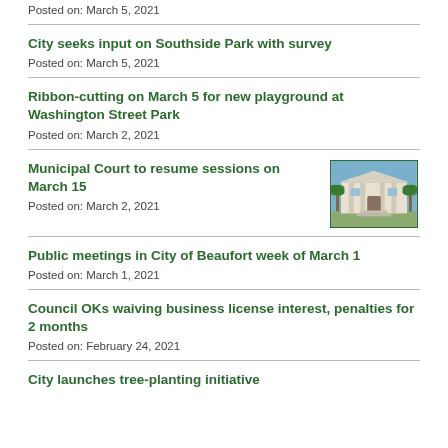Posted on: March 5, 2021
City seeks input on Southside Park with survey
Posted on: March 5, 2021
Ribbon-cutting on March 5 for new playground at Washington Street Park
Posted on: March 2, 2021
Municipal Court to resume sessions on March 15
[Figure (photo): Photo of a white government building with columns and palm trees]
Posted on: March 2, 2021
Public meetings in City of Beaufort week of March 1
Posted on: March 1, 2021
Council OKs waiving business license interest, penalties for 2 months
Posted on: February 24, 2021
City launches tree-planting initiative